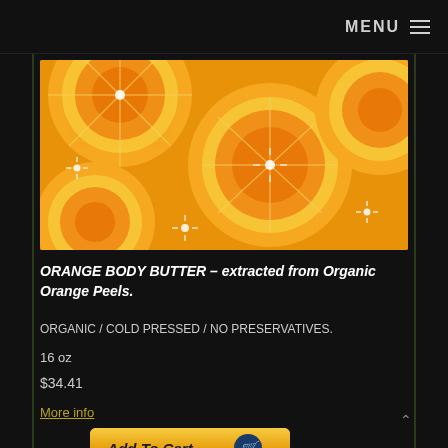MENU ≡
[Figure (photo): Close-up photo of multiple sliced orange halves showing cross-sections with yellow pith and bright orange flesh, on a bright orange background]
ORANGE BODY BUTTER – extracted from Organic Orange Peels.
ORGANIC / COLD PRESSED / NO PRESERVATIVES.
16 oz
$34.41
More info
[Figure (screenshot): Add To Cart button with shopping cart icon, yellow-orange gradient background]